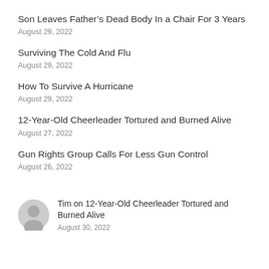Son Leaves Father’s Dead Body In a Chair For 3 Years
August 29, 2022
Surviving The Cold And Flu
August 29, 2022
How To Survive A Hurricane
August 29, 2022
12-Year-Old Cheerleader Tortured and Burned Alive
August 27, 2022
Gun Rights Group Calls For Less Gun Control
August 26, 2022
Tim on 12-Year-Old Cheerleader Tortured and Burned Alive
August 30, 2022